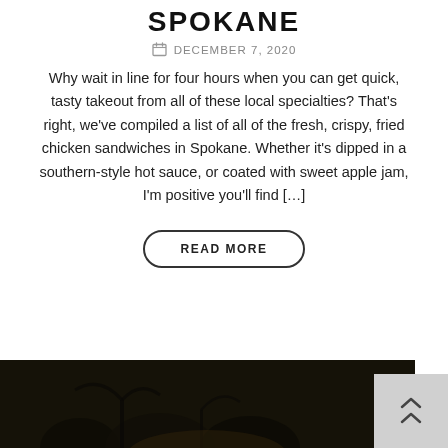SPOKANE
DECEMBER 7, 2020
Why wait in line for four hours when you can get quick, tasty takeout from all of these local specialties? That’s right, we’ve compiled a list of all of the fresh, crispy, fried chicken sandwiches in Spokane. Whether it’s dipped in a southern-style hot sauce, or coated with sweet apple jam, I’m positive you’ll find […]
READ MORE
[Figure (photo): Dark outdoor nighttime scene with plant silhouettes in background, partial image at bottom of page]